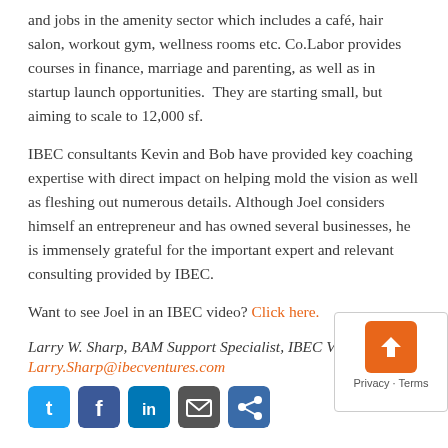and jobs in the amenity sector which includes a café, hair salon, workout gym, wellness rooms etc. Co.Labor provides courses in finance, marriage and parenting, as well as in startup launch opportunities.  They are starting small, but aiming to scale to 12,000 sf.
IBEC consultants Kevin and Bob have provided key coaching expertise with direct impact on helping mold the vision as well as fleshing out numerous details. Although Joel considers himself an entrepreneur and has owned several businesses, he is immensely grateful for the important expert and relevant consulting provided by IBEC.
Want to see Joel in an IBEC video? Click here.
Larry W. Sharp, BAM Support Specialist, IBEC Ventures
Larry.Sharp@ibecventures.com